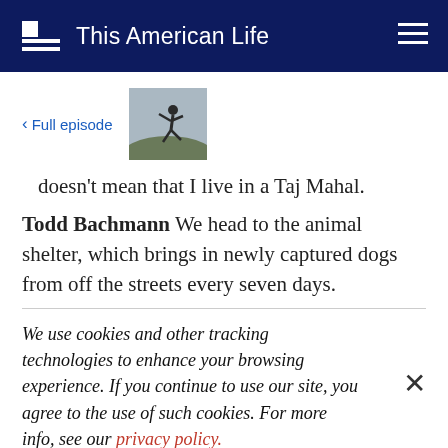This American Life
[Figure (screenshot): Back link 'Full episode' with thumbnail image of a person jumping against an overcast sky]
doesn't mean that I live in a Taj Mahal.
Todd Bachmann We head to the animal shelter, which brings in newly captured dogs from off the streets every seven days.
We use cookies and other tracking technologies to enhance your browsing experience. If you continue to use our site, you agree to the use of such cookies. For more info, see our privacy policy.
going to want to adopt those teeth.